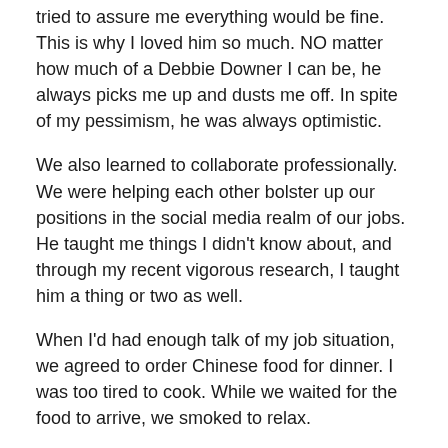tried to assure me everything would be fine. This is why I loved him so much. NO matter how much of a Debbie Downer I can be, he always picks me up and dusts me off. In spite of my pessimism, he was always optimistic.
We also learned to collaborate professionally. We were helping each other bolster up our positions in the social media realm of our jobs. He taught me things I didn't know about, and through my recent vigorous research, I taught him a thing or two as well.
When I'd had enough talk of my job situation, we agreed to order Chinese food for dinner. I was too tired to cook. While we waited for the food to arrive, we smoked to relax.
He told me about his day at work and the stellar presentation he delivered to the powers that be. He was proposing a new initiative that was well received by the